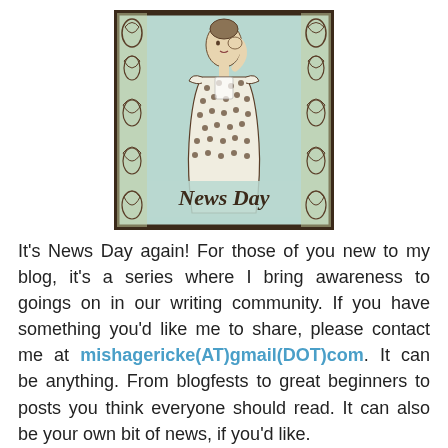[Figure (illustration): Vintage retro illustration of a woman in a polka dot dress holding her hand to her face, with decorative scroll borders on the sides, light teal/mint background, and cursive text 'News Day' at the bottom. Dark brown border frame.]
It's News Day again! For those of you new to my blog, it's a series where I bring awareness to goings on in our writing community. If you have something you'd like me to share, please contact me at mishagericke(AT)gmail(DOT)com. It can be anything. From blogfests to great beginners to posts you think everyone should read. It can also be your own bit of news, if you'd like.
Today, though, I have to focus on the biggest piece of news for MFB: